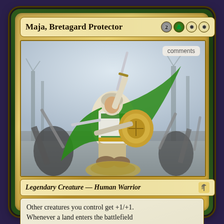Maja, Bretagard Protector
[Figure (illustration): Fantasy warrior woman in white and green armor with a flowing green cape, holding a sword aloft, standing triumphantly with a shield, surrounded by other warriors with weapons raised, set against a wintry forest background.]
comments
Legendary Creature — Human Warrior
Other creatures you control get +1/+1. Whenever a land enters the battlefield under your control, create a 1/1 white